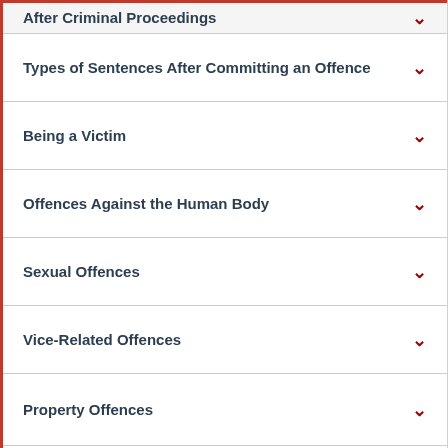After Criminal Proceedings
Types of Sentences After Committing an Offence
Being a Victim
Offences Against the Human Body
Sexual Offences
Vice-Related Offences
Property Offences